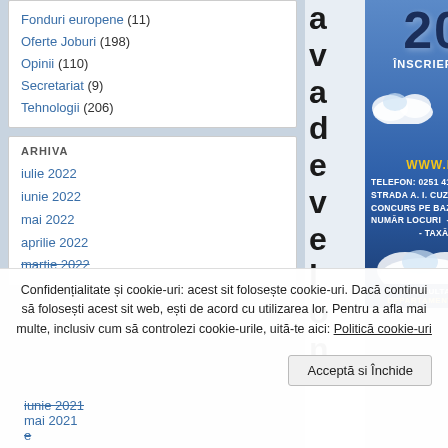Fonduri europene (11)
Oferte Joburi (198)
Opinii (110)
Secretariat (9)
Tehnologii (206)
ARHIVA
iulie 2022
iunie 2022
mai 2022
aprilie 2022
martie 2022
[Figure (illustration): University admission advertisement for 2022. Shows '2022' in large text, ÎNSCRIERI: 04-15 IULIE, clouds graphic, QR code, WWW.INF.UCV.RO, TELEFON: 0251 413 728, STRADA A. I. CUZA, NR. 13, CRAIOVA, CONCURS PE BAZĂ DE DOSAR, NUMĂR LOCURI - BUGET: 110, - TAXĂ: 40, FACULTATEA DE STIINTE, DEPARTAMENTUL DE INFORMATICA]
iunie 2021
mai 2021
Confidențialitate și cookie-uri: acest sit folosește cookie-uri. Dacă continui să folosești acest sit web, ești de acord cu utilizarea lor. Pentru a afla mai multe, inclusiv cum să controlezi cookie-urile, uită-te aici: Politică cookie-uri
Acceptă si Închide